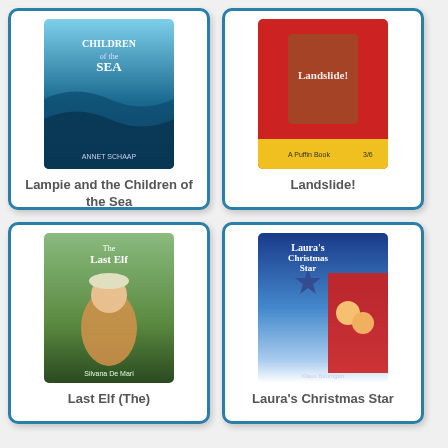[Figure (illustration): Book cover: Lampie and the Children of the Sea by Annet Schaap — blue ocean scene]
Lampie and the Children of the Sea
[Figure (illustration): Book cover: Landslide! — red cover, A Puffin Book]
Landslide!
[Figure (illustration): Book cover: The Last Elf by Silvana De Mari — fantasy elf character in green/earthy tones]
Last Elf (The)
[Figure (illustration): Book cover: Laura's Christmas Star by Klaus Baumgart — children sledding in snowy blue scene]
Laura's Christmas Star